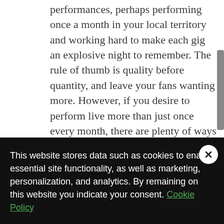performances, perhaps performing once a month in your local territory and working hard to make each gig an explosive night to remember. The rule of thumb is quality before quantity, and leave your fans wanting more. However, if you desire to perform live more than just once every month, there are plenty of ways to fill up your performance schedule without saturating a particular market. Four basic strategies you should consider include:
1. A club residency
This website stores data such as cookies to enable essential site functionality, as well as marketing, personalization, and analytics. By remaining on this website you indicate your consent. Cookie Policy